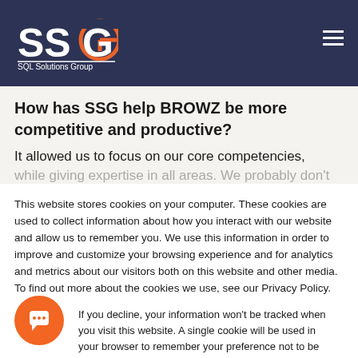SQL Solutions Group – SSG logo and navigation
How has SSG help BROWZ be more competitive and productive?
It allowed us to focus on our core competencies, while giving expertise in all areas. We probably don't
This website stores cookies on your computer. These cookies are used to collect information about how you interact with our website and allow us to remember you. We use this information in order to improve and customize your browsing experience and for analytics and metrics about our visitors both on this website and other media. To find out more about the cookies we use, see our Privacy Policy.
If you decline, your information won't be tracked when you visit this website. A single cookie will be used in your browser to remember your preference not to be tracked.